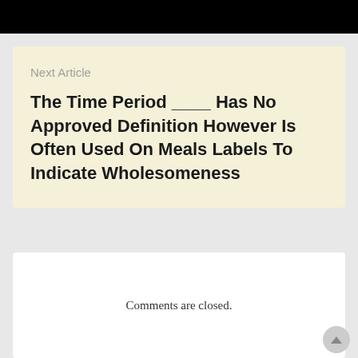[Figure (screenshot): Black bar at top of page, partial screenshot of a webpage header]
Next Article
The Time Period ____ Has No Approved Definition However Is Often Used On Meals Labels To Indicate Wholesomeness
Comments are closed.